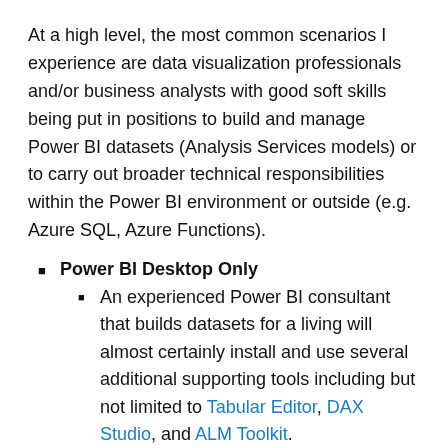At a high level, the most common scenarios I experience are data visualization professionals and/or business analysts with good soft skills being put in positions to build and manage Power BI datasets (Analysis Services models) or to carry out broader technical responsibilities within the Power BI environment or outside (e.g. Azure SQL, Azure Functions).
Power BI Desktop Only
An experienced Power BI consultant that builds datasets for a living will almost certainly install and use several additional supporting tools including but not limited to Tabular Editor, DAX Studio, and ALM Toolkit.
If the consultant doesn't have and use these tools confidently and regularly, there's a real possibility that the consultant is not as mature as they need to be.